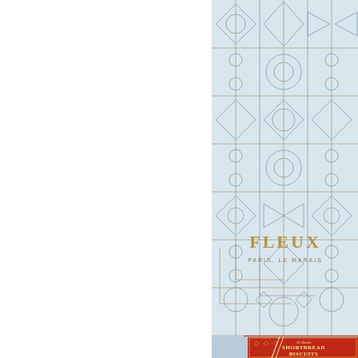[Figure (photo): Top image: A decorative package/box for 'FLEUX, PARIS. LE MARAIS' with an intricate geometric Art Deco pattern in gold/grey lines on a pale blue-white background. The pattern features diamonds, circles, arrows, and grid lines. The brand name FLEUX is visible in gold serif letters, with PARIS. LE MARAIS below it in smaller text.]
[Figure (photo): Bottom image: A partial view of a red tin/package labeled 'All-Butter SHORTBREAD BISCUITS' in cream/gold lettering with decorative gold border pattern, set against a light blue background with some reflective surface visible.]